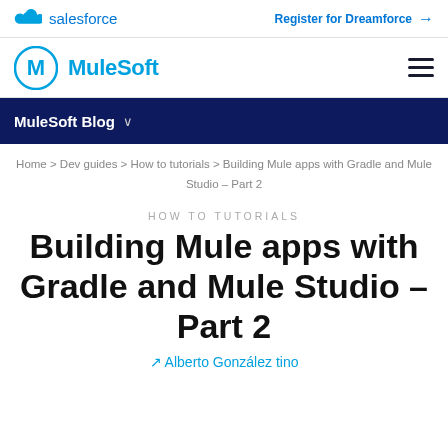salesforce   Register for Dreamforce →
MuleSoft  ☰
MuleSoft Blog ∨
Home > Dev guides > How to tutorials > Building Mule apps with Gradle and Mule Studio – Part 2
HOW TO TUTORIALS
Building Mule apps with Gradle and Mule Studio – Part 2
↗ Alberto González tino